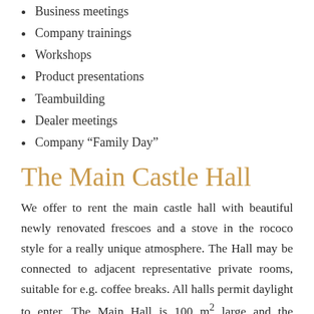Business meetings
Company trainings
Workshops
Product presentations
Teambuilding
Dealer meetings
Company “Family Day”
The Main Castle Hall
We offer to rent the main castle hall with beautiful newly renovated frescoes and a stove in the rococo style for a really unique atmosphere. The Hall may be connected to adjacent representative private rooms, suitable for e.g. coffee breaks. All halls permit daylight to enter. The Main Hall is 100 m² large and the capacity is 40 persons in